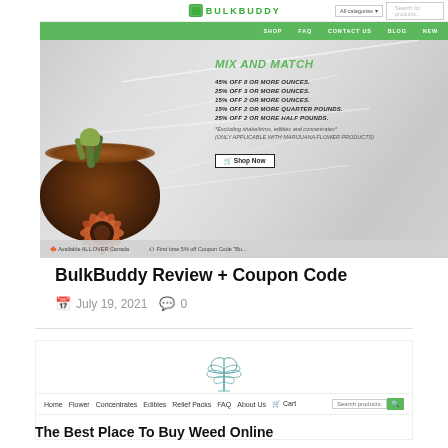[Figure (screenshot): BulkBuddy website screenshot showing header with logo, green navigation bar (SHOP, FAQ, CONTACT US, BLOG, NEW), and hero banner with marble background. Left side shows wooden bowl with orange chrysanthemum flower. Right side shows 'MIX AND MATCH' promotional text with discount tiers: 45% OFF 8 OR MORE OUNCES, 25% OFF 3 OR MORE OUNCES, 15% OFF 2 OR MORE OUNCES, 15% OFF 2 OR MORE QUARTER POUNDS, 25% OFF 2 OR MORE HALF POUNDS. Note: *Excluding shake/trims, edibles and concentrates*. (ONLY APPLICABLE WITH MARIJUANA FLOWER PRODUCTS). Shop Now button. Bottom ticker: Available ALL OVER Canada | First time 5% off Coupon Code 'BU...]
BulkBuddy Review + Coupon Code
July 19, 2021   0
[Figure (screenshot): BulkBuddy second website page screenshot showing cannabis leaf logo, navigation bar with: Home, Flower, Concentrates, Edibles, Relief Packs, FAQ, About Us, Cart, and search bar.]
The Best Place To Buy Weed Online